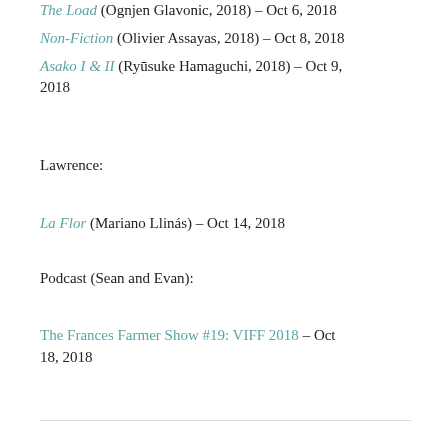The Load (Ognjen Glavonic, 2018) – Oct 6, 2018
Non-Fiction (Olivier Assayas, 2018) – Oct 8, 2018
Asako I & II (Ryūsuke Hamaguchi, 2018) – Oct 9, 2018
Lawrence:
La Flor (Mariano Llinás) – Oct 14, 2018
Podcast (Sean and Evan):
The Frances Farmer Show #19: VIFF 2018 – Oct 18, 2018